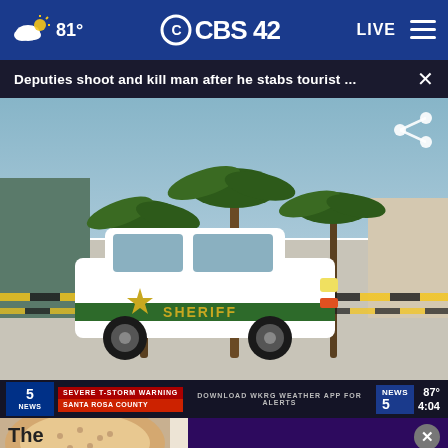81° | CBS 42 | LIVE
Deputies shoot and kill man after he stabs tourist ...
[Figure (photo): A Sheriff's department SUV parked at a beach location with palm trees and yellow crime scene tape in the background. A news broadcast lower-third overlay shows a severe thunderstorm warning for Santa Rosa County and a weather download prompt.]
If you're noticing changes, it could be Alzheimer's. Visit a doctor together.
The